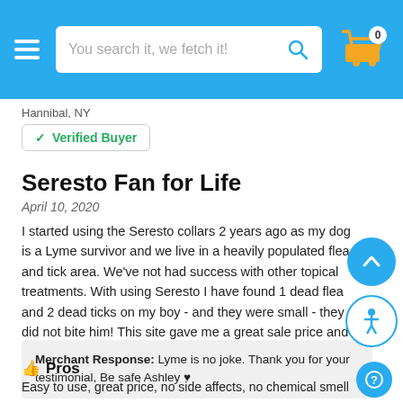[Figure (screenshot): E-commerce website header with hamburger menu, search bar reading 'You search it, we fetch it!', and shopping cart icon with badge showing 0]
Hannibal, NY
✓ Verified Buyer
Seresto Fan for Life
April 10, 2020
I started using the Seresto collars 2 years ago as my dog is a Lyme survivor and we live in a heavily populated flea and tick area. We've not had success with other topical treatments. With using Seresto I have found 1 dead flea and 2 dead ticks on my boy - and they were small - they did not bite him! This site gave me a great sale price and shipping rate. It arrived quickly too.
Merchant Response: Lyme is no joke. Thank you for your testimonial, Be safe Ashley ♥
Pros
Easy to use, great price, no side affects, no chemical smell